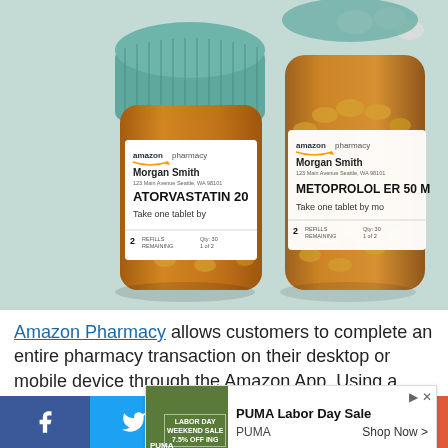[Figure (photo): Two amber prescription pill bottles with Amazon Pharmacy labels. Left bottle has teal lid and shows ATORVASTATIN, right bottle shows METOPROLOL ER 50MG. Both labeled for patient Morgan Smith with '2 refills remaining'. Bottles on light teal background with scattered white pills.]
Amazon Pharmacy allows customers to complete an entire pharmacy transaction on their desktop or mobile device through the Amazon App. Using a secure pha... infr...
[Figure (screenshot): Advertisement banner for PUMA Labor Day Sale showing PUMA brand name and 'Shop Now >' call to action, with an image of PUMA products and a Labor Day Weekend Sale badge.]
f  [Twitter bird]  [Email icon]  p  +